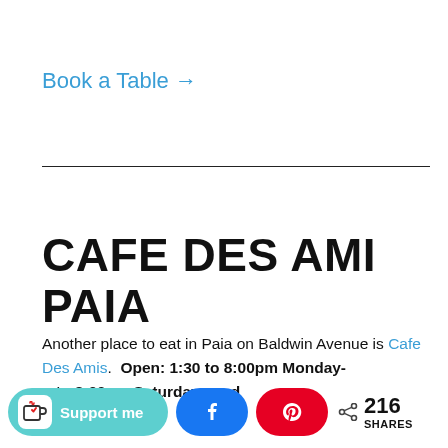Book a Table →
CAFE DES AMI PAIA
Another place to eat in Paia on Baldwin Avenue is Cafe Des Amis.  Open: 1:30 to 8:00pm Monday- n to 8:00pm Saturdays and
[Figure (other): Bottom social sharing bar with Support me button (teal), Facebook share button (blue), Pinterest share button (red), and share count showing 216 SHARES]